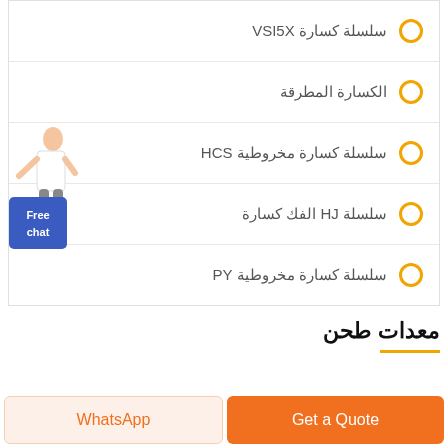سلسلة كسارة VSI5X
الكسارة المطرقة
سلسلة كسارة مخروطية HCS
سلسلة HJ الفك كسارة
سلسلة كسارة مخروطية PY
معدات طحن
[Figure (photo): Female customer service representative figure next to Free chat button]
Get a Quote
WhatsApp